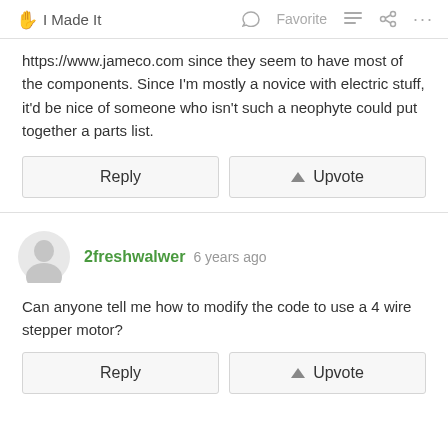I Made It   Favorite   ...
https://www.jameco.com since they seem to have most of the components. Since I'm mostly a novice with electric stuff, it'd be nice of someone who isn't such a neophyte could put together a parts list.
Reply   Upvote
2freshwalwer 6 years ago
Can anyone tell me how to modify the code to use a 4 wire stepper motor?
Reply   Upvote